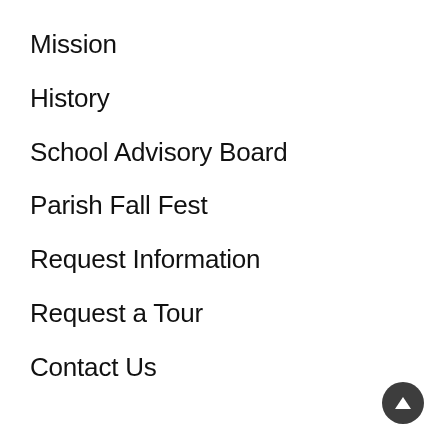Mission
History
School Advisory Board
Parish Fall Fest
Request Information
Request a Tour
Contact Us
[Figure (other): Scroll-to-top button: dark circular button with upward-pointing triangle/arrow]